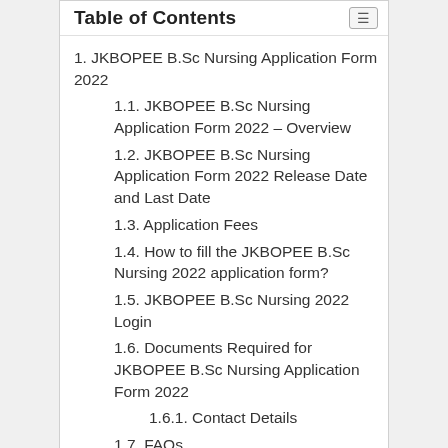Table of Contents
1. JKBOPEE B.Sc Nursing Application Form 2022
1.1. JKBOPEE B.Sc Nursing Application Form 2022 – Overview
1.2. JKBOPEE B.Sc Nursing Application Form 2022 Release Date and Last Date
1.3. Application Fees
1.4. How to fill the JKBOPEE B.Sc Nursing 2022 application form?
1.5. JKBOPEE B.Sc Nursing 2022 Login
1.6. Documents Required for JKBOPEE B.Sc Nursing Application Form 2022
1.6.1. Contact Details
1.7. FAQs